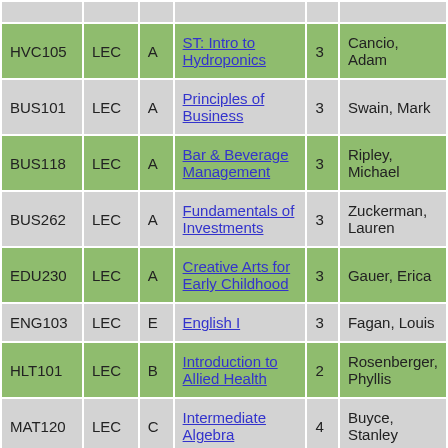| Course | Type | Sec | Name | Cr | Instructor |
| --- | --- | --- | --- | --- | --- |
| HVC105 | LEC | A | ST: Intro to Hydroponics | 3 | Cancio, Adam |
| BUS101 | LEC | A | Principles of Business | 3 | Swain, Mark |
| BUS118 | LEC | A | Bar & Beverage Management | 3 | Ripley, Michael |
| BUS262 | LEC | A | Fundamentals of Investments | 3 | Zuckerman, Lauren |
| EDU230 | LEC | A | Creative Arts for Early Childhood | 3 | Gauer, Erica |
| ENG103 | LEC | E | English I | 3 | Fagan, Louis |
| HLT101 | LEC | B | Introduction to Allied Health | 2 | Rosenberger, Phyllis |
| MAT120 | LEC | C | Intermediate Algebra | 4 | Buyce, Stanley |